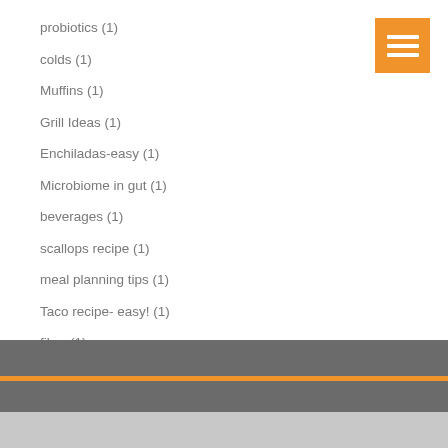probiotics (1)
colds (1)
Muffins (1)
Grill Ideas (1)
Enchiladas-easy (1)
Microbiome in gut (1)
beverages (1)
scallops recipe (1)
meal planning tips (1)
Taco recipe- easy! (1)
fiber (1)
soups (1)